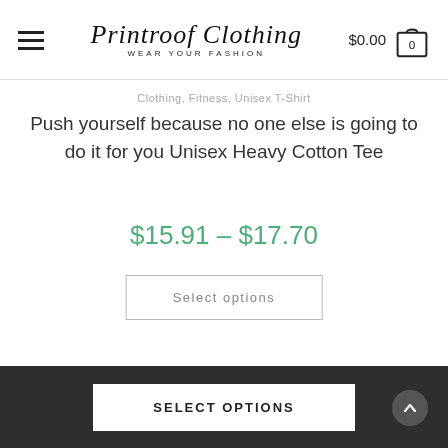Printroof Clothing — WEAR YOUR FASHION | $0.00 [0]
Clothing, Fitness, Unisex T-Shirt
Push yourself because no one else is going to do it for you Unisex Heavy Cotton Tee
$15.91 – $17.70
Select options
SELECT OPTIONS